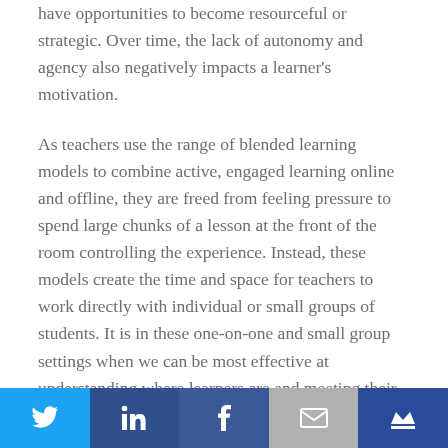have opportunities to become resourceful or strategic. Over time, the lack of autonomy and agency also negatively impacts a learner's motivation.
As teachers use the range of blended learning models to combine active, engaged learning online and offline, they are freed from feeling pressure to spend large chunks of a lesson at the front of the room controlling the experience. Instead, these models create the time and space for teachers to work directly with individual or small groups of students. It is in these one-on-one and small group settings when we can be most effective at understanding where learners are and meeting their
[Figure (other): Social media share bar with Twitter, LinkedIn, Facebook, Email, and Crown/bookmark buttons]